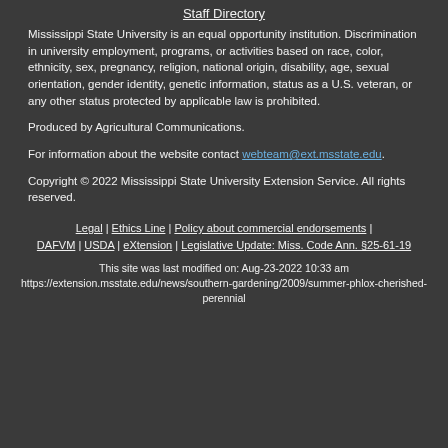Staff Directory
Mississippi State University is an equal opportunity institution. Discrimination in university employment, programs, or activities based on race, color, ethnicity, sex, pregnancy, religion, national origin, disability, age, sexual orientation, gender identity, genetic information, status as a U.S. veteran, or any other status protected by applicable law is prohibited.
Produced by Agricultural Communications.
For information about the website contact webteam@ext.msstate.edu.
Copyright © 2022 Mississippi State University Extension Service. All rights reserved.
Legal | Ethics Line | Policy about commercial endorsements | DAFVM | USDA | eXtension | Legislative Update: Miss. Code Ann. §25-61-19
This site was last modified on: Aug-23-2022 10:33 am https://extension.msstate.edu/news/southern-gardening/2009/summer-phlox-cherished-perennial